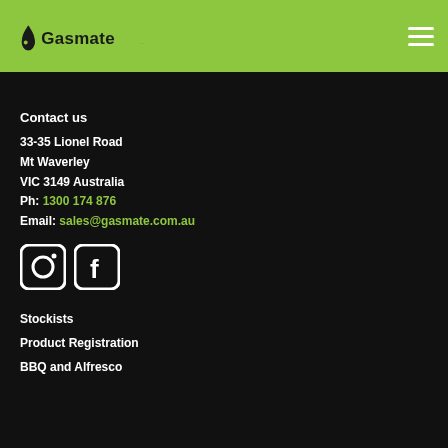[Figure (logo): Gasmate logo — green drop icon and 'Gasmate' wordmark on green bar]
[Figure (other): Hamburger menu icon (three white horizontal lines) on green bar]
Contact us
33-35 Lionel Road
Mt Waverley
VIC 3149 Australia
Ph: 1300 174 876
Email: sales@gasmate.com.au
[Figure (other): Instagram icon (square with circle and dot) and Facebook icon (square with F letter)]
Stockists
Product Registration
BBQ and Alfresco